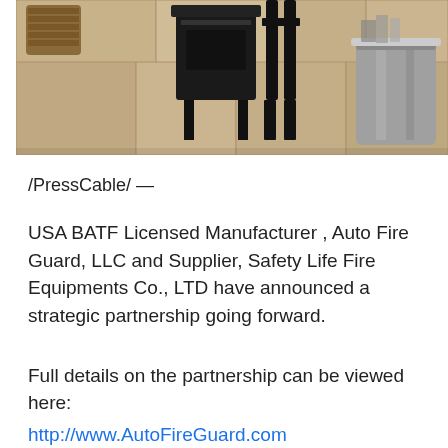[Figure (photo): Photo of a black wood-burning stove on a stone floor, with a wicker basket on the left and a metal galvanized bucket on the right.]
/PressCable/ —
USA BATF Licensed Manufacturer , Auto Fire Guard, LLC and Supplier, Safety Life Fire Equipments Co., LTD have announced a strategic partnership going forward.
Full details on the partnership can be viewed here: http://www.AutoFireGuard.com